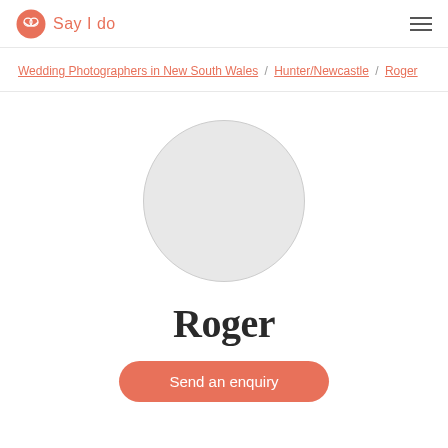Say I do
Wedding Photographers in New South Wales / Hunter/Newcastle / Roger
[Figure (photo): Circular profile avatar placeholder — light grey circle]
Roger
Send an enquiry